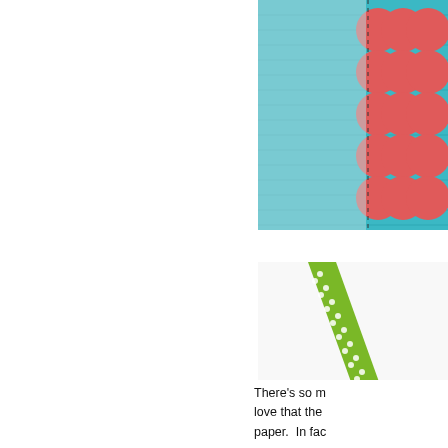[Figure (photo): Partial view of a crafting project showing scalloped red/pink circles on a teal corrugated background, with dashed lines visible — appears to be a card or decoration cut partially off the right edge of the image.]
[Figure (photo): Close-up photo of a white card or piece of paper with a green polka-dot ribbon or decorative tape strip running diagonally from top to bottom. The background shows a grey surface.]
There's so m... love that the... paper.  In fac...